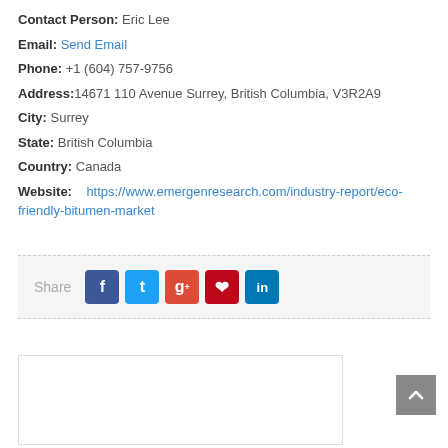Contact Person: Eric Lee
Email: Send Email
Phone: +1 (604) 757-9756
Address: 14671 110 Avenue Surrey, British Columbia, V3R2A9
City: Surrey
State: British Columbia
Country: Canada
Website: https://www.emergenresearch.com/industry-report/eco-friendly-bitumen-market
Share
[Figure (other): Empty white box with border at the bottom of the page]
About It Reviews Comments